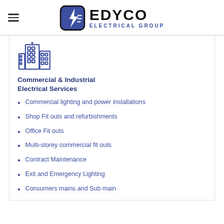[Figure (logo): EDYCO Electrical Group logo with blue square icon containing lightning bolt and lines, plus bold text EDYCO with ELECTRICAL GROUP subtitle]
[Figure (illustration): Blue outline icon of commercial buildings / city skyline]
Commercial & Industrial Electrical Services
Commercial lighting and power installations
Shop Fit outs and refurbishments
Office Fit outs
Multi-storey commercial fit outs
Contract Maintenance
Exit and Emergency Lighting
Consumers mains and Sub main